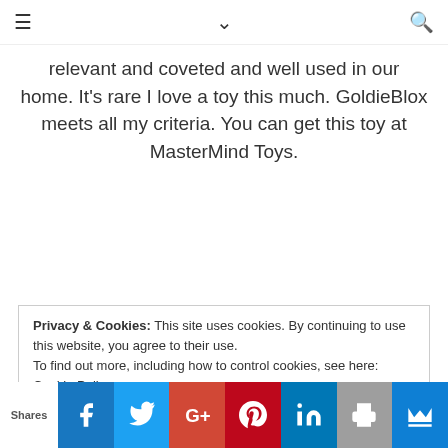≡  ˅  🔍
relevant and coveted and well used in our home. It's rare I love a toy this much. GoldieBlox meets all my criteria. You can get this toy at MasterMind Toys.
Privacy & Cookies: This site uses cookies. By continuing to use this website, you agree to their use.
To find out more, including how to control cookies, see here: Cookie Policy
Shares — Facebook, Twitter, Google+, Pinterest, LinkedIn, Print, Crown